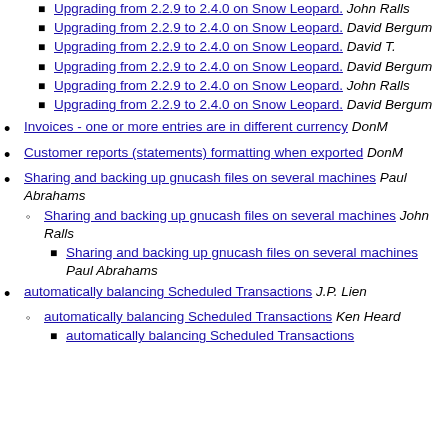Upgrading from 2.2.9 to 2.4.0 on Snow Leopard.  John Ralls (square bullet, level 3, top)
Upgrading from 2.2.9 to 2.4.0 on Snow Leopard.  David Bergum
Upgrading from 2.2.9 to 2.4.0 on Snow Leopard.  David T.
Upgrading from 2.2.9 to 2.4.0 on Snow Leopard.  David Bergum
Upgrading from 2.2.9 to 2.4.0 on Snow Leopard.  John Ralls
Upgrading from 2.2.9 to 2.4.0 on Snow Leopard.  David Bergum
Invoices - one or more entries are in different currency  DonM
Customer reports (statements) formatting when exported  DonM
Sharing and backing up gnucash files on several machines  Paul Abrahams
Sharing and backing up gnucash files on several machines  John Ralls (circle sub)
Sharing and backing up gnucash files on several machines  Paul Abrahams (square sub-sub)
automatically balancing Scheduled Transactions  J.P. Lien
automatically balancing Scheduled Transactions  Ken Heard (circle sub)
automatically balancing Scheduled Transactions (square sub-sub, partial)